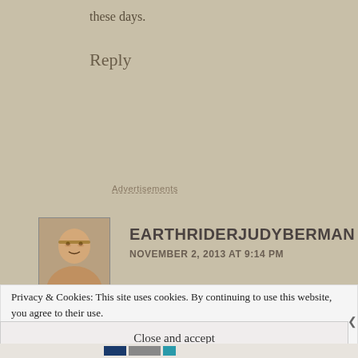these days.
Reply
Advertisements
EARTHRIDERJUDYBERMAN
NOVEMBER 2, 2013 AT 9:14 PM
Privacy & Cookies: This site uses cookies. By continuing to use this website, you agree to their use.
To find out more, including how to control cookies, see here: Cookie Policy
Close and accept